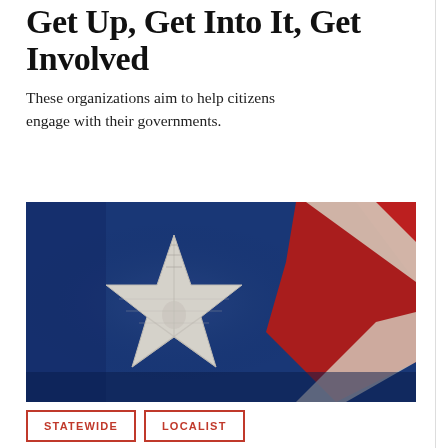Get Up, Get Into It, Get Involved
These organizations aim to help citizens engage with their governments.
[Figure (photo): Close-up photograph of an American flag showing an embroidered white star on blue fabric, with red and white stripes visible in the upper right corner.]
STATEWIDE
LOCALIST